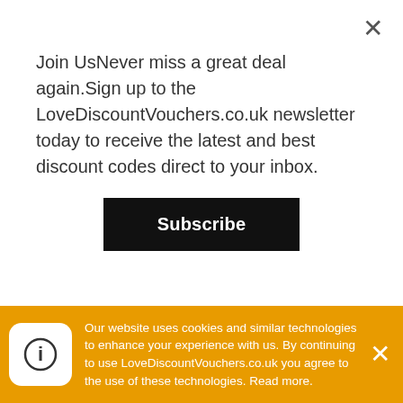Join UsNever miss a great deal again.Sign up to the LoveDiscountVouchers.co.uk newsletter today to receive the latest and best discount codes direct to your inbox.
Subscribe
Email
support@dollarshaveclub.com
Opening Hour
Monday-Friday 10:30am-2:30pm PST
Address
Our website uses cookies and similar technologies to enhance your experience with us. By continuing to use LoveDiscountVouchers.co.uk you agree to the use of these technologies. Read more.